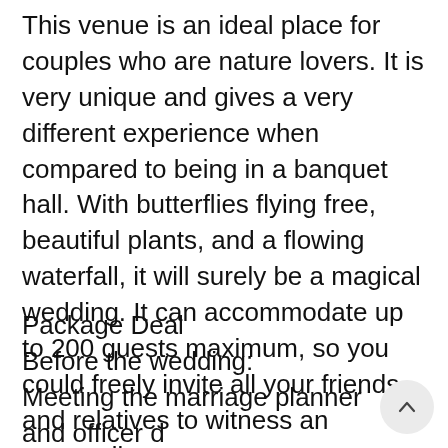This venue is an ideal place for couples who are nature lovers. It is very unique and gives a very different experience when compared to being in a banquet hall. With butterflies flying free, beautiful plants, and a flowing waterfall, it will surely be a magical wedding. It can accommodate up to 200 guests maximum, so you could freely invite all your friends and relatives to witness an extraordinary ceremony.
Package Deal
Before the wedding:
Meeting the marriage planner and officer d before the ceremony